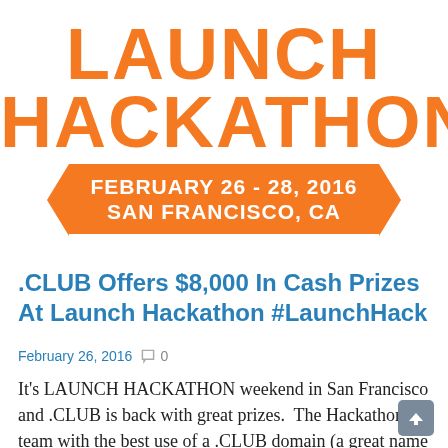[Figure (logo): LAUNCH HACKATHON logo in orange with ribbon banner reading FEBRUARY 26 - 28, 2016 / SAN FRANCISCO, CA]
.CLUB Offers $8,000 In Cash Prizes At Launch Hackathon #LaunchHack
February 26, 2016  ○ 0
It's LAUNCH HACKATHON weekend in San Francisco and .CLUB is back with great prizes.  The Hackathon team with the best use of a .CLUB domain (a great name and a great project) will win the first prize of $6,000.  A runner up prize of $2,000 will go to the